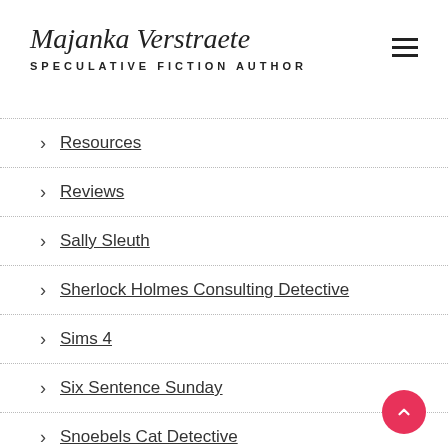Majanka Verstraete SPECULATIVE FICTION AUTHOR
Resources
Reviews
Sally Sleuth
Sherlock Holmes Consulting Detective
Sims 4
Six Sentence Sunday
Snoebels Cat Detective
The Adventures of Marisol Holmes